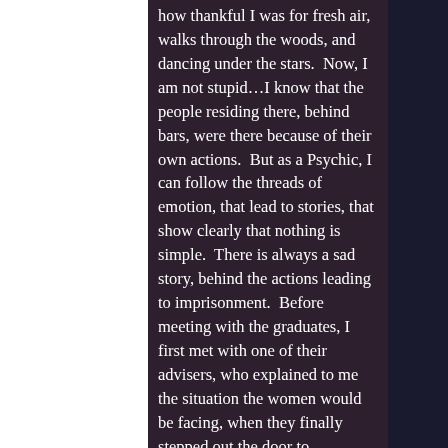how thankful I was for fresh air, walks through the woods, and dancing under the stars.  Now, I am not stupid…I know that the people residing there, behind bars, were there because of their own actions.  But as a Psychic, I can follow the threads of emotion, that lead to stories, that show clearly that nothing is simple.  There is always a sad story, behind the actions leading to imprisonment.  Before meeting with the graduates, I first met with one of their advisers, who explained to me the situation the women would be facing, when they finally stepped out the door to freedom.  Getting their education was a huge stepping stone to success, but they had many more hurtles to overcome.  The women graduating did not just make a mistake, that landed them